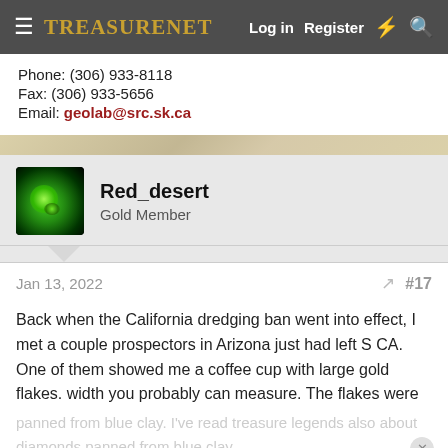TreasureNet  Log in  Register
Phone: (306) 933-8118
Fax: (306) 933-5656
Email: geolab@src.sk.ca
Red_desert
Gold Member
Jan 13, 2022  #17
Back when the California dredging ban went into effect, I met a couple prospectors in Arizona just had left S CA. One of them showed me a coffee cup with large gold flakes. width you probably can measure. The flakes were panned from blue clay. I've read treasure legends also about diamonds panned from blue clay.